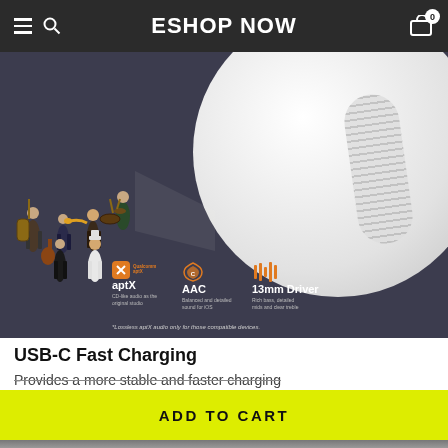ESHOP NOW
[Figure (photo): Product page screenshot of wireless earbuds with miniature jazz musicians figurines in front of a white earbud speaker, showing audio features: aptX (CD-like audio as the original studio), AAC (Balanced and detailed sound for iOS), 13mm Driver (rich bass, detailed mids and clear treble). Note: *Lossless aptX audio only for those compatible devices.]
USB-C Fast Charging
Provides a more stable and faster charging
ADD TO CART